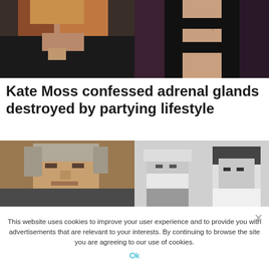[Figure (photo): Left: woman with long auburn/blonde hair in black outfit, close-up. Right: woman in black cut-out dress, torso shot.]
Kate Moss confessed adrenal glands destroyed by partying lifestyle
[Figure (photo): Left: older man with gray hair, color photo. Right: younger man with dark hair and blonde woman, black and white photo.]
This website uses cookies to improve your user experience and to provide you with advertisements that are relevant to your interests. By continuing to browse the site you are agreeing to our use of cookies.
Ok